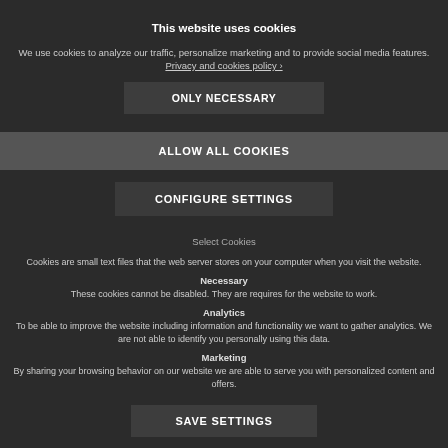This website uses cookies
We use cookies to analyze our traffic, personalize marketing and to provide social media features. Privacy and cookies policy ›.
ONLY NECESSARY
ALLOW ALL COOKIES
CONFIGURE SETTINGS
Select Cookies
Cookies are small text files that the web server stores on your computer when you visit the website.
Necessary
These cookies cannot be disabled. They are requires for the website to work.
Analytics
To be able to improve the website including information and functionality we want to gather analytics. We are not able to identify you personally using this data.
Marketing
By sharing your browsing behavior on our website we are able to serve you with personalized content and offers.
SAVE SETTINGS
YouTube videos provide a wide selection of workouts for you to do in your own time at home. Look for ones that have been created by accredited instructors or recommended